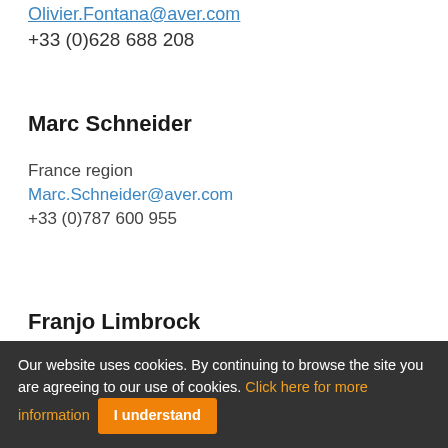Olivier.Fontana@aver.com
+33 (0)628 688 208
Marc Schneider
France region
Marc.Schneider@aver.com
+33 (0)787 600 955
Franjo Limbrock
Our website uses cookies. By continuing to browse the site you are agreeing to our use of cookies. Click here for more information  I understand